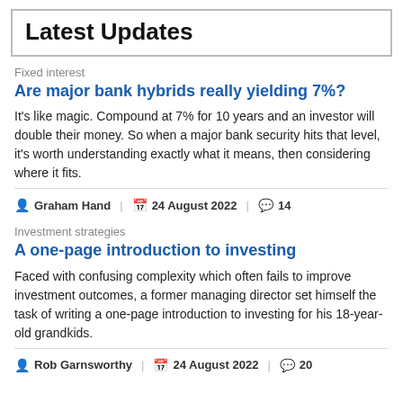Latest Updates
Fixed interest
Are major bank hybrids really yielding 7%?
It's like magic. Compound at 7% for 10 years and an investor will double their money. So when a major bank security hits that level, it's worth understanding exactly what it means, then considering where it fits.
Graham Hand | 24 August 2022 | 14
Investment strategies
A one-page introduction to investing
Faced with confusing complexity which often fails to improve investment outcomes, a former managing director set himself the task of writing a one-page introduction to investing for his 18-year-old grandkids.
Rob Garnsworthy | 24 August 2022 | 20